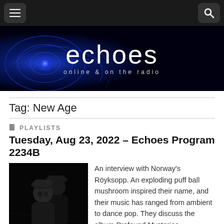[Figure (screenshot): Dark navigation bar with hamburger menu icon on left and search icon on right]
[Figure (logo): Echoes online & on the radio banner with blue swirling background and white text logo]
Tag: New Age
PLAYLISTS
Tuesday, Aug 23, 2022 – Echoes Program 2234B
[Figure (photo): Black and white photo of two people, one in front with a cap and one behind]
An interview with Norway's Röyksopp. An exploding puff ball mushroom inspired their name, and their music has ranged from ambient to dance pop. They discuss the album Profound Mysteries.